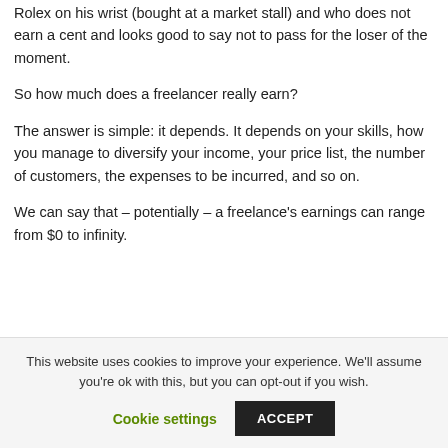Rolex on his wrist (bought at a market stall) and who does not earn a cent and looks good to say not to pass for the loser of the moment.
So how much does a freelancer really earn?
The answer is simple: it depends. It depends on your skills, how you manage to diversify your income, your price list, the number of customers, the expenses to be incurred, and so on.
We can say that – potentially – a freelance's earnings can range from $0 to infinity.
This website uses cookies to improve your experience. We'll assume you're ok with this, but you can opt-out if you wish.
Cookie settings   ACCEPT